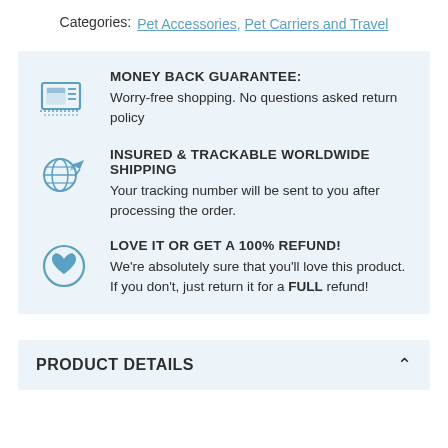Categories: Pet Accessories, Pet Carriers and Travel
MONEY BACK GUARANTEE: Worry-free shopping. No questions asked return policy
INSURED & TRACKABLE WORLDWIDE SHIPPING Your tracking number will be sent to you after processing the order.
LOVE IT OR GET A 100% REFUND! We're absolutely sure that you'll love this product. If you don't, just return it for a FULL refund!
PRODUCT DETAILS